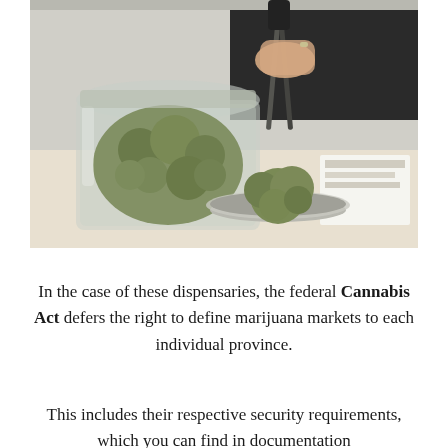[Figure (photo): A person using tongs to handle cannabis flower buds on a scale tray, with a large glass jar of cannabis buds on the left side, in what appears to be a dispensary setting.]
In the case of these dispensaries, the federal Cannabis Act defers the right to define marijuana markets to each individual province.
This includes their respective security requirements, which you can find in documentation